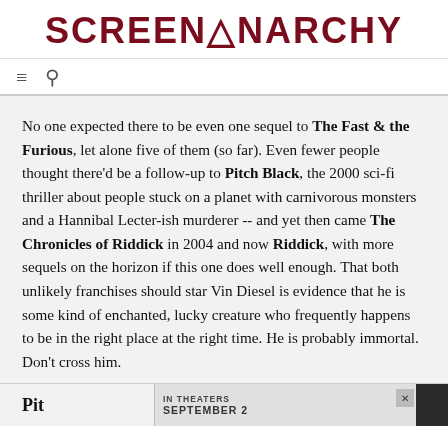SCREENANARCHY
No one expected there to be even one sequel to The Fast & the Furious, let alone five of them (so far). Even fewer people thought there'd be a follow-up to Pitch Black, the 2000 sci-fi thriller about people stuck on a planet with carnivorous monsters and a Hannibal Lecter-ish murderer -- and yet then came The Chronicles of Riddick in 2004 and now Riddick, with more sequels on the horizon if this one does well enough. That both unlikely franchises should star Vin Diesel is evidence that he is some kind of enchanted, lucky creature who frequently happens to be in the right place at the right time. He is probably immortal. Don't cross him.